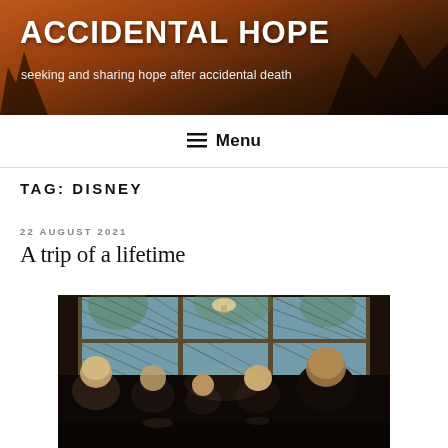ACCIDENTAL HOPE
seeking and sharing hope after accidental death
Menu
TAG: DISNEY
22 AUGUST 2021
A trip of a lifetime
[Figure (photo): Group of people sitting at a restaurant table near large latticed windows with outdoor greenery visible behind them]